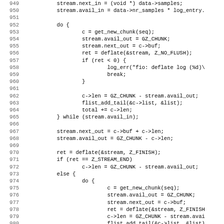[Figure (screenshot): Source code listing showing C code lines 949-980, with line numbers on the left and code on the right in monospace font. The code shows stream compression logic using deflate, including do-while loops, GZ_CHUNK operations, and Z_FINISH handling.]